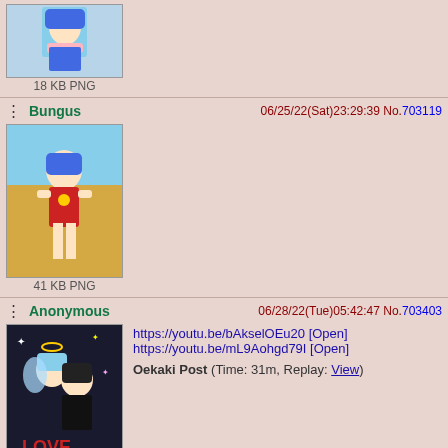[Figure (illustration): Partial top post showing anime character with blue hair and pink scarf, labeled 18 KB PNG]
18 KB PNG
Bungus 06/25/22(Sat)23:29:39 No.703119
[Figure (illustration): Anime girl in red swimsuit on beach background, labeled 41 KB PNG]
41 KB PNG
Anonymous 06/28/22(Tue)05:42:47 No.703403
[Figure (illustration): Anime style drawing with two characters and LOVE text, labeled 31 KB PNG]
https://youtu.be/bAkselOEu20 [Open]
https://youtu.be/mL9Aohgd79I [Open]
Oekaki Post (Time: 31m, Replay: View)
31 KB PNG
Anonymous 07/08/22(Fri)02:12:53 No.704651
nice bread